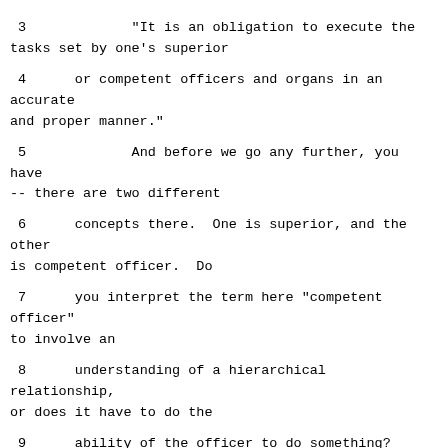3            "It is an obligation to execute the tasks set by one's superior
4      or competent officers and organs in an accurate and proper manner."
5             And before we go any further, you have -- there are two different
6      concepts there.  One is superior, and the other is competent officer.  Do
7      you interpret the term here "competent officer" to involve an
8      understanding of a hierarchical relationship, or does it have to do the
9      ability of the officer to do something?